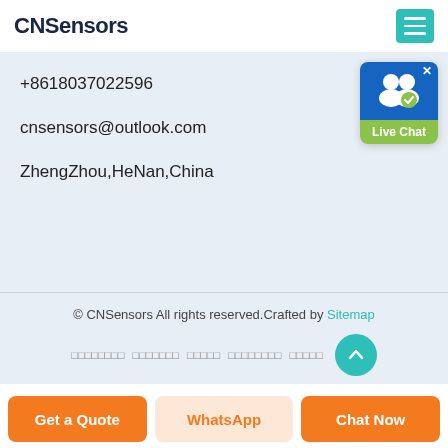CNSensors
+8618037022596
cnsensors@outlook.com
ZhengZhou,HeNan,China
[Figure (infographic): Live Chat button widget with two person icons and green label]
© CNSensors All rights reserved.Crafted by Sitemap
navigation links (encoded text)
Get a Quote | WhatsApp | Chat Now